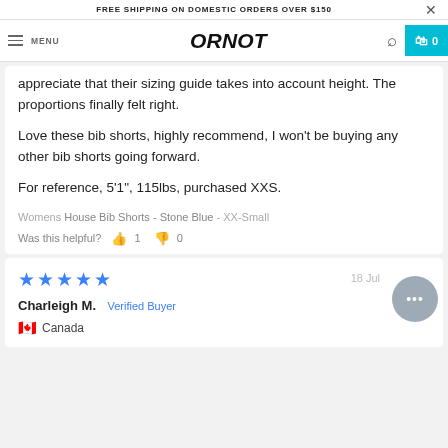FREE SHIPPING ON DOMESTIC ORDERS OVER $150
[Figure (logo): ORNOT brand logo with hamburger menu, search icon, and cart]
appreciate that their sizing guide takes into account height. The proportions finally felt right.

Love these bib shorts, highly recommend, I won't be buying any other bib shorts going forward.

For reference, 5'1", 115lbs, purchased XXS.
Womens House Bib Shorts - Stone Blue - XX-Small
Was this helpful? 👍 1 👎 0
★★★★★  18 Jul
Charleigh M. Verified Buyer
🇨🇦 Canada